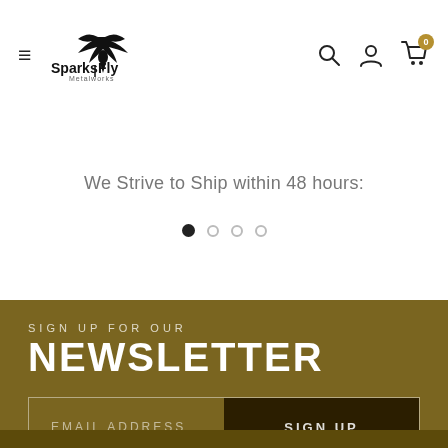Sparks Fly Metalworks — navigation header with hamburger menu, logo, search, user, and cart icons
We Strive to Ship within 48 hours:
[Figure (other): Carousel pagination dots — four dots, first filled/active, remaining three outlined]
SIGN UP FOR OUR
NEWSLETTER
[Figure (other): Email signup form with EMAIL ADDRESS input field and SIGN UP button on dark gold background]